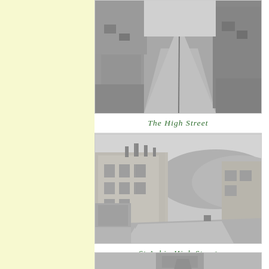[Figure (photo): Black and white photograph of The High Street, a narrow alley or street with buildings on both sides receding into the distance]
The High Street
[Figure (photo): Black and white photograph of St Aubin High Street showing a wide road with multi-storey buildings on the left, hills in the background]
St Aubin High Street
[Figure (photo): Partial black and white photograph at the bottom of the page, partially cropped]